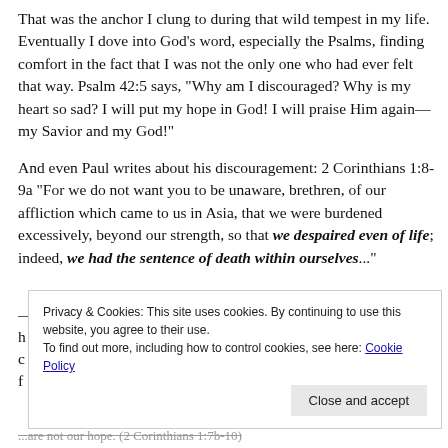That was the anchor I clung to during that wild tempest in my life. Eventually I dove into God's word, especially the Psalms, finding comfort in the fact that I was not the only one who had ever felt that way. Psalm 42:5 says, “Why am I discouraged? Why is my heart so sad? I will put my hope in God! I will praise Him again—my Savior and my God!”
And even Paul writes about his discouragement: 2 Corinthians 1:8-9a “For we do not want you to be unaware, brethren, of our affliction which came to us in Asia, that we were burdened excessively, beyond our strength, so that we despaired even of life; indeed, we had the sentence of death within ourselves...”
Privacy & Cookies: This site uses cookies. By continuing to use this website, you agree to their use.
To find out more, including how to control cookies, see here: Cookie Policy
Close and accept
...are not our hope. (2 Corinthians 1:7b-10)